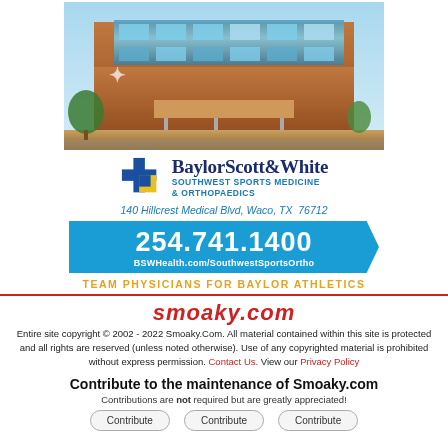[Figure (photo): Exterior photo of Baylor Scott & White Southwest Sports Medicine & Orthopaedics building — a modern multi-story structure with blue glass and brick facade.]
[Figure (logo): Baylor Scott & White Southwest Sports Medicine & Orthopaedics logo with blue and yellow cross icon.]
140 Hillcrest Medical Blvd, Waco, TX  76712
254.741.1400
BSWHealth.com/SouthwestSportsOrtho
TEAM PHYSICIANS FOR BAYLOR ATHLETICS
[Figure (logo): smoaky.com logo in red italic bold text]
Entire site copyright © 2002 - 2022 Smoaky.Com. All material contained within this site is protected and all rights are reserved (unless noted otherwise). Use of any copyrighted material is prohibited without express permission. Contact Us. View our Privacy Policy
Contribute to the maintenance of Smoaky.com
Contributions are not required but are greatly appreciated!
Contribute   Contribute   Contribute